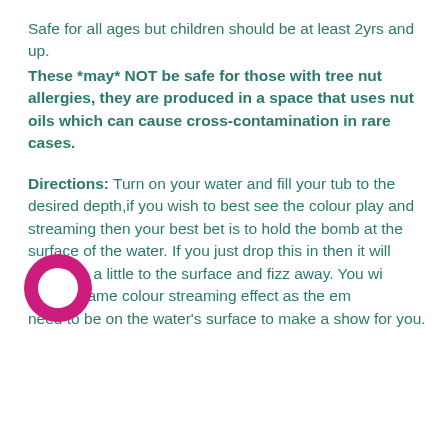Safe for all ages but children should be at least 2yrs and up.
These *may* NOT be safe for those with tree nut allergies, they are produced in a space that uses nut oils which can cause cross-contamination in rare cases.
Directions: Turn on your water and fill your tub to the desired depth,if you wish to best see the colour play and streaming then your best bet is to hold the bomb at the surface of the water. If you just drop this in then it will sink, rise a little to the surface and fizz away. You will not get the same colour streaming effect as the emulsion need to be on the water's surface to make a show for you.
[Figure (logo): Pink/magenta circular logo with a ring/donut shape, partially overlapping the text in the bottom-left area]